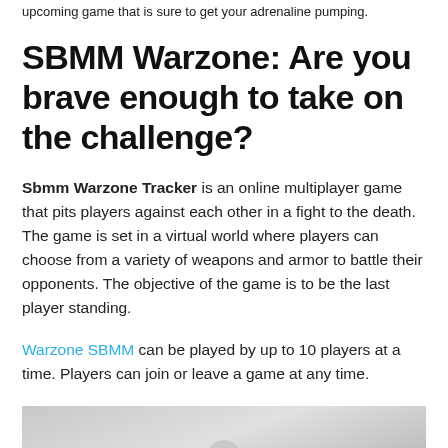upcoming game that is sure to get your adrenaline pumping.
SBMM Warzone: Are you brave enough to take on the challenge?
Sbmm Warzone Tracker is an online multiplayer game that pits players against each other in a fight to the death. The game is set in a virtual world where players can choose from a variety of weapons and armor to battle their opponents. The objective of the game is to be the last player standing.
Warzone SBMM can be played by up to 10 players at a time. Players can join or leave a game at any time.
[Figure (photo): A partially visible photograph showing a person or character silhouette against a light gray background, cropped at the bottom of the page.]